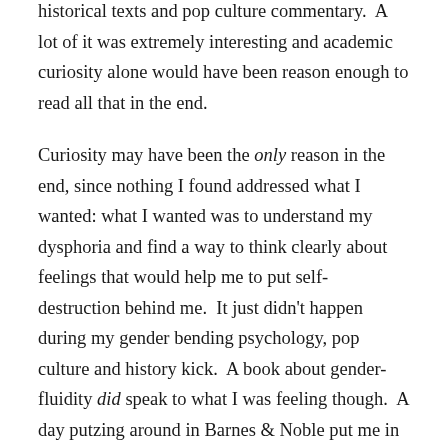historical texts and pop culture commentary.  A lot of it was extremely interesting and academic curiosity alone would have been reason enough to read all that in the end.
Curiosity may have been the only reason in the end, since nothing I found addressed what I wanted: what I wanted was to understand my dysphoria and find a way to think clearly about feelings that would help me to put self-destruction behind me.  It just didn't happen during my gender bending psychology, pop culture and history kick.  A book about gender-fluidity did speak to what I was feeling though.  A day putzing around in Barnes & Noble put me in touch with Gender Outlaw by Kate Bornstein.